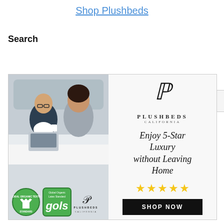Shop Plushbeds
Search
[Figure (screenshot): Plushbeds advertisement banner showing a couple sitting in bed, Plushbeds California logo, text 'Enjoy 5-Star Luxury without Leaving Home', five gold stars, a SHOP NOW button, and certification badges including GOLS and organic textile standard.]